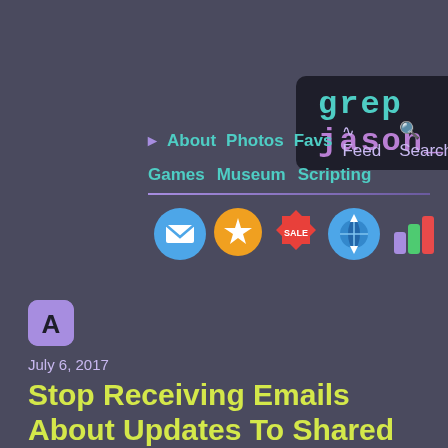[Figure (logo): grep jason_ logo in dark rounded box with teal and purple monospace text]
▸ About  Photos  Favs    Feed  Search
Games  Museum  Scripting
[Figure (infographic): Row of 5 colorful icon buttons: blue envelope, orange star chat bubble, sale badge, blue globe with arrows, purple/green bar chart]
[Figure (logo): Purple rounded square icon with white letter A]
July 6, 2017
Stop Receiving Emails About Updates To Shared Apple Reminders